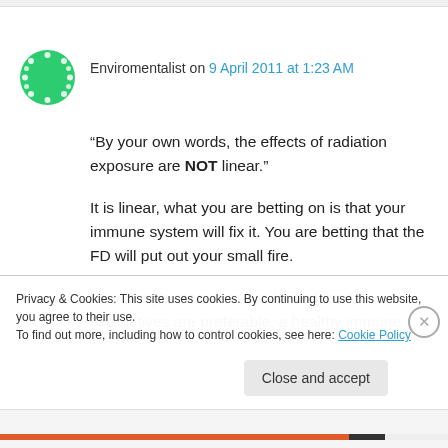Enviromentalist on 9 April 2011 at 1:23 AM
“By your own words, the effects of radiation exposure are NOT linear.”
It is linear, what you are betting on is that your immune system will fix it. You are betting that the FD will put out your small fire.
Your body’s resources are limited, and alternatives are preferable, a healthy immune
Privacy & Cookies: This site uses cookies. By continuing to use this website, you agree to their use.
To find out more, including how to control cookies, see here: Cookie Policy